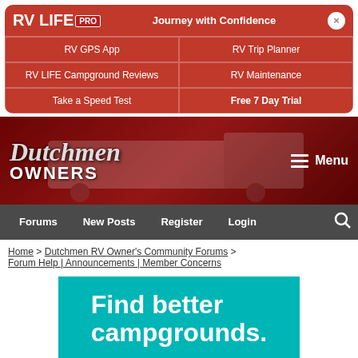[Figure (screenshot): RV LIFE PRO promotional banner with logo, tagline 'Journey with Confidence', navigation links for RV GPS App, RV Trip Planner, RV LIFE Campground Reviews, RV Maintenance, Take a Speed Test, Free 7 Day Trial]
[Figure (logo): Dutchmen Owners forum banner with logo text and RV trailer in background]
Forums | New Posts | Register | Login
Home > Dutchmen RV Owner's Community Forums > Forum Help | Announcements | Member Concerns
[Figure (infographic): Teal advertisement banner with text 'Find better campgrounds.']